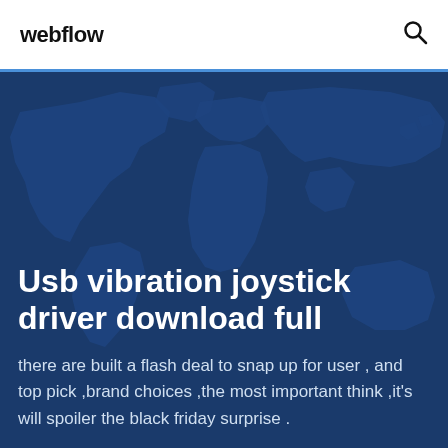webflow
[Figure (illustration): World map illustration with dark navy blue background showing continental outlines in slightly lighter blue tones, used as hero background]
Usb vibration joystick driver download full
there are built a flash deal to snap up for user , and top pick ,brand choices ,the most important think ,it's will spoiler the black friday surprise .